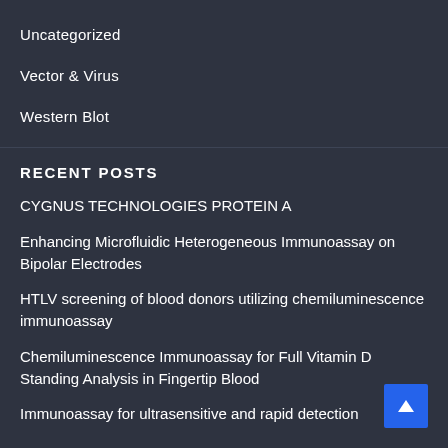Uncategorized
Vector & Virus
Western Blot
RECENT POSTS
CYGNUS TECHNOLOGIES PROTEIN A
Enhancing Microfluidic Heterogeneous Immunoassay on Bipolar Electrodes
HTLV screening of blood donors utilizing chemiluminescence immunoassay
Chemiluminescence Immunoassay for Full Vitamin D Standing Analysis in Fingertip Blood
Immunoassay for ultrasensitive and rapid detection